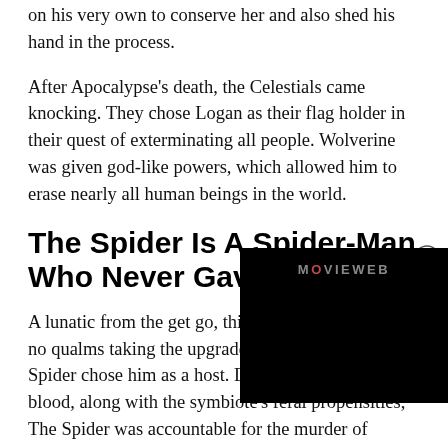on his very own to conserve her and also shed his hand in the process.
After Apocalypse's death, the Celestials came knocking. They chose Logan as their flag holder in their quest of exterminating all people. Wolverine was given god-like powers, which allowed him to erase nearly all human beings in the world.
The Spider Is A Spider-Man Who Never Gave Up His S
A lunatic from the get go, this no qualms taking the upgrade Spider chose him as a host. Du blood, along with the symbiote's feral propensities, The Spider was accountable for the murder of adequate individuals to land him 67 consecutive life sentences
[Figure (screenshot): A video overlay with black background showing the MOVIEWEB logo in grey and red text]